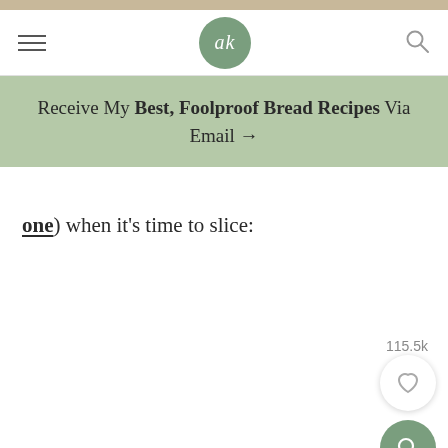ak logo, hamburger menu, search icon
Receive My Best, Foolproof Bread Recipes Via Email →
one) when it's time to slice: